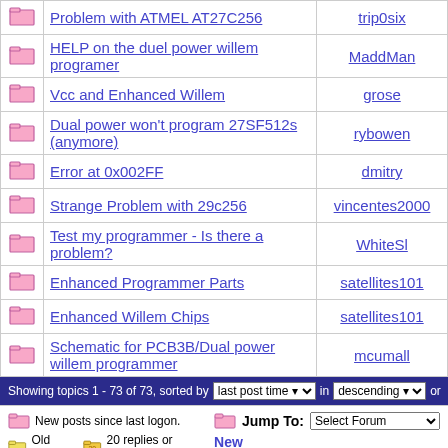|  | Topic | Author |
| --- | --- | --- |
| [folder] | Problem with ATMEL AT27C256 | trip0six |
| [folder] | HELP on the duel power willem programer | MaddMan |
| [folder] | Vcc and Enhanced Willem | grose |
| [folder] | Dual power won't program 27SF512s (anymore) | rybowen |
| [folder] | Error at 0x002FF | dmitry |
| [folder] | Strange Problem with 29c256 | vincentes2000 |
| [folder] | Test my programmer - Is there a problem? | WhiteSl |
| [folder] | Enhanced Programmer Parts | satellites101 |
| [folder] | Enhanced Willem Chips | satellites101 |
| [folder] | Schematic for PCB3B/Dual power willem programmer | mcumall |
Showing topics 1 - 73 of 73, sorted by last post time in descending or...
New posts since last logon. Old Posts. (20 replies or more.) Locked topic.
Jump To: Select Forum  New Topic
MCUmall EPROM BIOS Chip Burner Forum  © Copyright 2003 - 2009 Mcumall Electronics Inc.
Generated in 0.19 sec.    Snitz Forums 2000